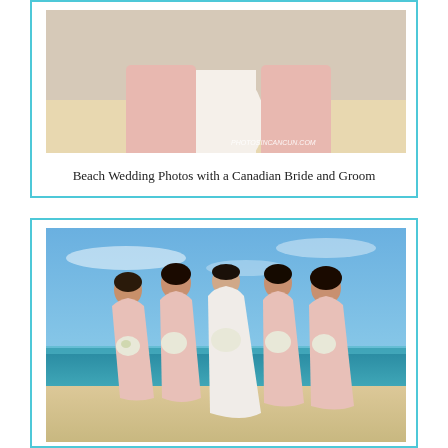[Figure (photo): Beach wedding photo showing backs of bride in white gown and two bridesmaids in pink dresses standing on sandy beach, with photosincancun.com watermark]
Beach Wedding Photos with a Canadian Bride and Groom
[Figure (photo): Bride and four bridesmaids in light pink dresses standing on a beach holding white floral bouquets, with blue ocean and sky in background]